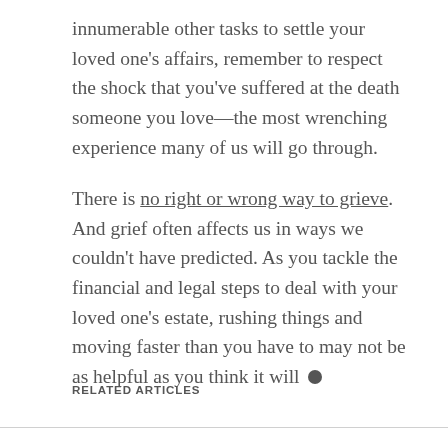innumerable other tasks to settle your loved one's affairs, remember to respect the shock that you've suffered at the death someone you love—the most wrenching experience many of us will go through.
There is no right or wrong way to grieve. And grief often affects us in ways we couldn't have predicted. As you tackle the financial and legal steps to deal with your loved one's estate, rushing things and moving faster than you have to may not be as helpful as you think it will ●
RELATED ARTICLES